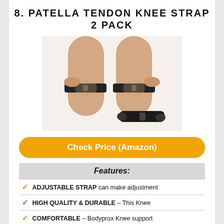8. PATELLA TENDON KNEE STRAP 2 PACK
[Figure (photo): Photo of a person wearing two black patella tendon knee straps on their knees, with one strap being adjusted by hand. A separate strap is shown on the ground in the foreground.]
Check Price (Amazon)
| Features: |
| --- |
| ✓ ADJUSTABLE STRAP can make adjustment |
| ✓ HIGH QUALITY & DURABLE – This Knee |
| ✓ COMFORTABLE – Bodyprox Knee support |
| ✓ RELIEF FROM KNEE PAIN-Bodyprox Knee |
| ✓ BREATHABLE! Reinforced with hexagonal |